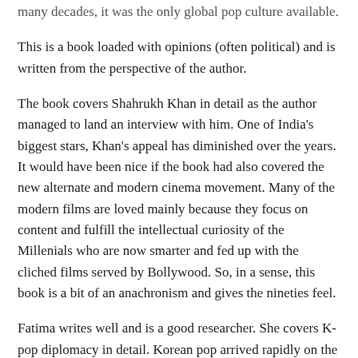many decades, it was the only global pop culture available.
This is a book loaded with opinions (often political) and is written from the perspective of the author.
The book covers Shahrukh Khan in detail as the author managed to land an interview with him. One of India's biggest stars, Khan's appeal has diminished over the years. It would have been nice if the book had also covered the new alternate and modern cinema movement. Many of the modern films are loved mainly because they focus on content and fulfill the intellectual curiosity of the Millenials who are now smarter and fed up with the cliched films served by Bollywood. So, in a sense, this book is a bit of an anachronism and gives the nineties feel.
Fatima writes well and is a good researcher. She covers K-pop diplomacy in detail. Korean pop arrived rapidly on the international scene but also disappeared quickly. Very few can recall any other hit song except Gangnam. There is, however, some appeal for Korean films but the language remains a big barrier.